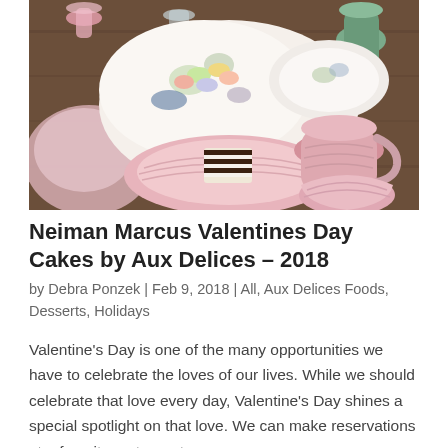[Figure (photo): A styled table setting featuring floral patterned plates with macarons, pink ribbed ceramic plates with a chocolate stripe cake slice, pink pitchers and bowls, a green vase, pink glassware, and pink napkins on a dark wood table.]
Neiman Marcus Valentines Day Cakes by Aux Delices – 2018
by Debra Ponzek | Feb 9, 2018 | All, Aux Delices Foods, Desserts, Holidays
Valentine's Day is one of the many opportunities we have to celebrate the loves of our lives. While we should celebrate that love every day, Valentine's Day shines a special spotlight on that love. We can make reservations at a favorite restaurant or we can go on